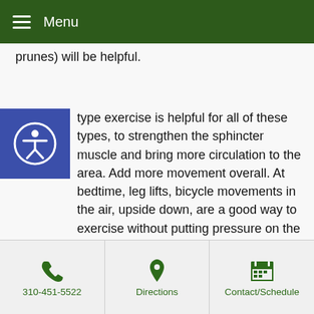Menu
prunes) will be helpful.
type exercise is helpful for all of these types, to strengthen the sphincter muscle and bring more circulation to the area. Add more movement overall. At bedtime, leg lifts, bicycle movements in the air, upside down, are a good way to exercise without putting pressure on the lower body.
Ideally, when there is good digestion, between 5:00 – 7:00 a.m. is when people should naturally want to go, quickly, without too much need to push. Sitting on the toilet for too long creates the pressure that leads to hemorrhoids.
310-451-5522 | Directions | Contact/Schedule